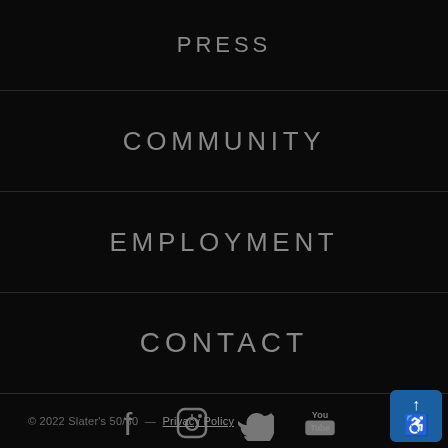PRESS
COMMUNITY
EMPLOYMENT
CONTACT
[Figure (other): Social media icons: Facebook, Instagram, Twitter, YouTube]
© 2022 Slater's 50/50  —  Privacy Policy